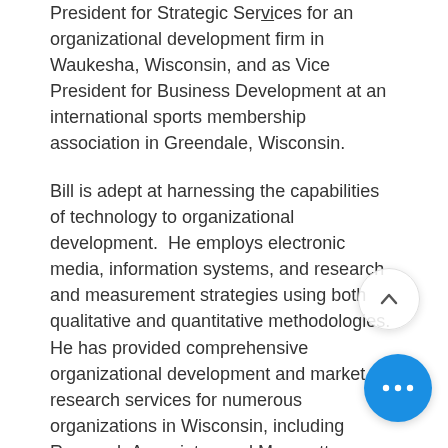President for Strategic Services for an organizational development firm in Waukesha, Wisconsin, and as Vice President for Business Development at an international sports membership association in Greendale, Wisconsin.
Bill is adept at harnessing the capabilities of technology to organizational development.  He employs electronic media, information systems, and research and measurement strategies using both qualitative and quantitative methodologies.  He has provided comprehensive organizational development and market research services for numerous organizations in Wisconsin, including Research Associates and Marquette University Alumni Memorial Union.